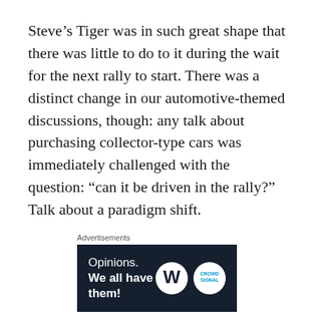Steve’s Tiger was in such great shape that there was little to do to it during the wait for the next rally to start. There was a distinct change in our automotive-themed discussions, though: any talk about purchasing collector-type cars was immediately challenged with the question: “can it be driven in the rally?” Talk about a paradigm shift.
[Figure (other): Advertisement banner with dark navy background showing 'Opinions. We all have them!' text with WordPress and CrowdSignal logos on the right.]
The host hotel this year was the Sagamore Resort, located on Lake George NY. Now, before you Yankees get your windjammers in a knot, I